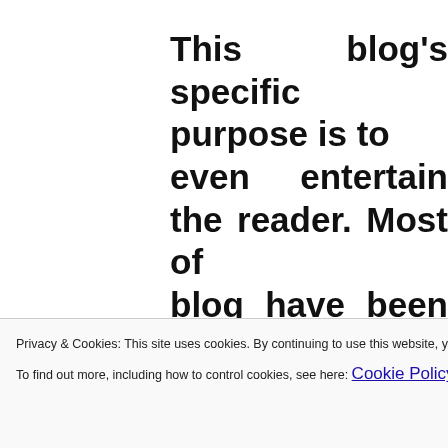This blog's specific purpose is to even entertain the reader. Most of blog have been following me for ye Facebook. Those 3 things, edu entertain, are the key building b your own base of readers.
Privacy & Cookies: This site uses cookies. By continuing to use this website, you agree to their use. To find out more, including how to control cookies, see here: Cookie Policy
yourself, what do you want your